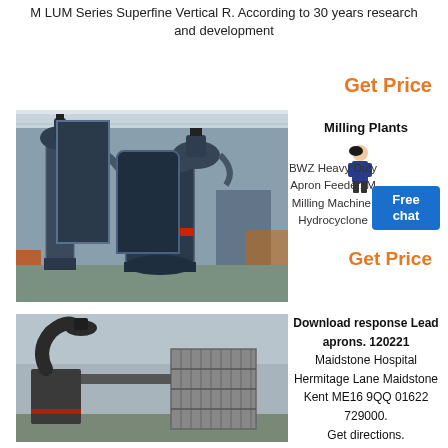M LUM Series Superfine Vertical R. According to 30 years research and development
Get Price
[Figure (photo): Industrial milling machine equipment inside a large factory building]
Milling Plants
BWZ Heavy Duty Apron Feeder. Milling Machine. Hydrocyclone
Free chat
Get Price
[Figure (photo): Outdoor industrial milling/grinding machine equipment with dust collector]
Download response Lead aprons. 120221 Maidstone Hospital Hermitage Lane Maidstone Kent ME16 9QQ 01622 729000. Get directions.